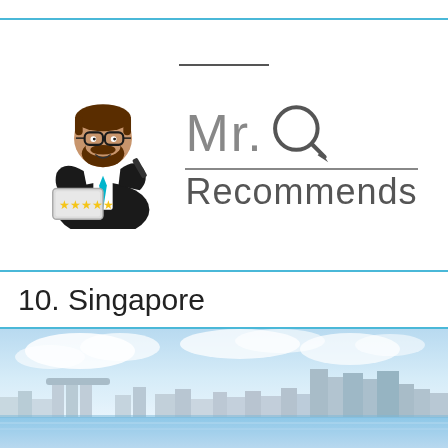[Figure (logo): Mr. Q Recommends logo with bearded mascot character holding a tablet with yellow stars, alongside stylized text 'Mr.Q Recommends']
10. Singapore
[Figure (photo): Skyline photo of Singapore showing city buildings and Marina Bay Sands with blue sky and water in foreground]